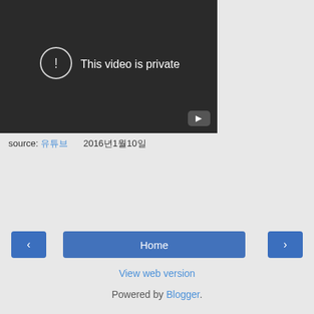[Figure (screenshot): YouTube video embed showing 'This video is private' error message on dark background with a circle-exclamation icon and a YouTube play button in bottom right corner.]
source: 유튜브     2016년1월10일
Share
‹
Home
›
View web version
Powered by Blogger.